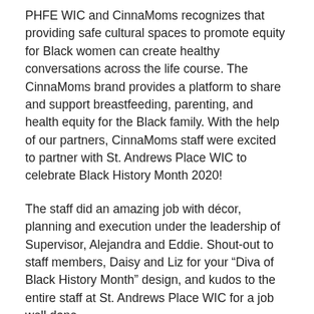PHFE WIC and CinnaMoms recognizes that providing safe cultural spaces to promote equity for Black women can create healthy conversations across the life course. The CinnaMoms brand provides a platform to share and support breastfeeding, parenting, and health equity for the Black family. With the help of our partners, CinnaMoms staff were excited to partner with St. Andrews Place WIC to celebrate Black History Month 2020!
The staff did an amazing job with décor, planning and execution under the leadership of Supervisor, Alejandra and Eddie. Shout-out to staff members, Daisy and Liz for your “Diva of Black History Month” design, and kudos to the entire staff at St. Andrews Place WIC for a job well done.
Eddie and Rodasha were MC’s who set the stage for the event. Beautiful CinnaMoms tote bags were given to participants upon arrival. Families visited several